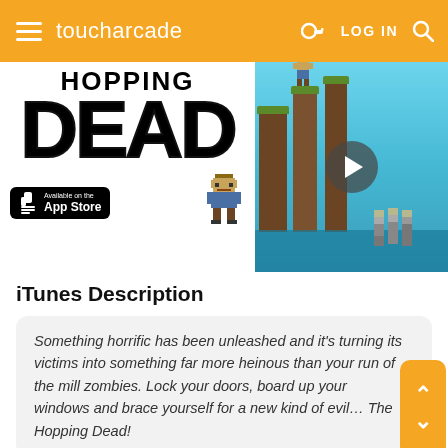toucharcade  LOG IN
[Figure (screenshot): The Hopping Dead game promotional image with DEAD logo and App Store badge on left, game screenshot with play button on right showing platforms and zombie character]
iTunes Description
Something horrific has been unleashed and it's turning its victims into something far more heinous than your run of the mill zombies. Lock your doors, board up your windows and brace yourself for a new kind of evil… The Hopping Dead!